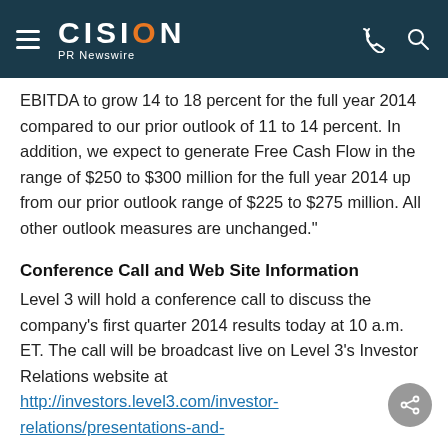CISION PR Newswire
EBITDA to grow 14 to 18 percent for the full year 2014 compared to our prior outlook of 11 to 14 percent. In addition, we expect to generate Free Cash Flow in the range of $250 to $300 million for the full year 2014 up from our prior outlook range of $225 to $275 million. All other outlook measures are unchanged."
Conference Call and Web Site Information
Level 3 will hold a conference call to discuss the company's first quarter 2014 results today at 10 a.m. ET. The call will be broadcast live on Level 3's Investor Relations website at http://investors.level3.com/investor-relations/presentations-and-